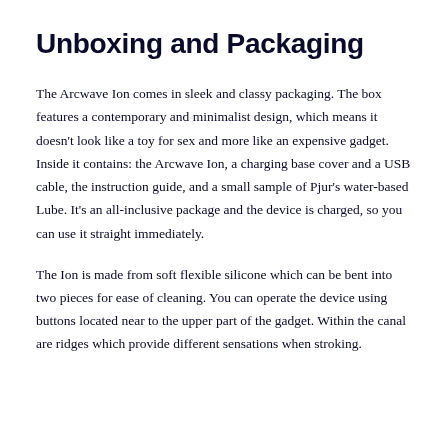Unboxing and Packaging
The Arcwave Ion comes in sleek and classy packaging. The box features a contemporary and minimalist design, which means it doesn't look like a toy for sex and more like an expensive gadget. Inside it contains: the Arcwave Ion, a charging base cover and a USB cable, the instruction guide, and a small sample of Pjur's water-based Lube. It's an all-inclusive package and the device is charged, so you can use it straight immediately.
The Ion is made from soft flexible silicone which can be bent into two pieces for ease of cleaning. You can operate the device using buttons located near to the upper part of the gadget. Within the canal are ridges which provide different sensations when stroking.